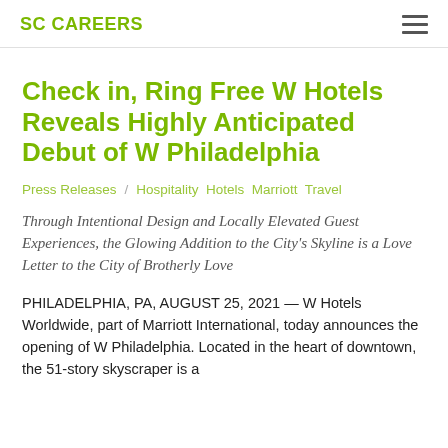SC CAREERS
Check in, Ring Free W Hotels Reveals Highly Anticipated Debut of W Philadelphia
Press Releases / Hospitality Hotels Marriott Travel
Through Intentional Design and Locally Elevated Guest Experiences, the Glowing Addition to the City's Skyline is a Love Letter to the City of Brotherly Love
PHILADELPHIA, PA, AUGUST 25, 2021 — W Hotels Worldwide, part of Marriott International, today announces the opening of W Philadelphia. Located in the heart of downtown, the 51-story skyscraper is a